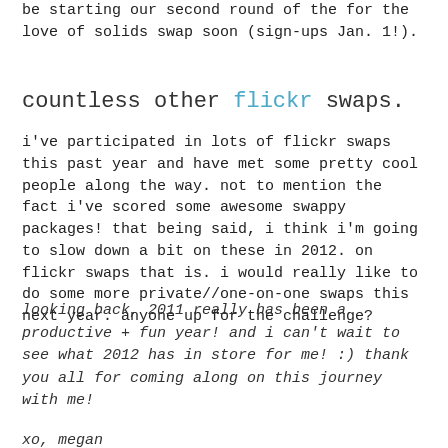be starting our second round of the for the love of solids swap soon (sign-ups Jan. 1!).
countless other flickr swaps.
i've participated in lots of flickr swaps this past year and have met some pretty cool people along the way. not to mention the fact i've scored some awesome swappy packages! that being said, i think i'm going to slow down a bit on these in 2012. on flickr swaps that is. i would really like to do some more private//one-on-one swaps this next year. anyone up for the challenge?
looking back, 2011 really has been a productive + fun year! and i can't wait to see what 2012 has in store for me! :) thank you all for coming along on this journey with me!
xo, megan